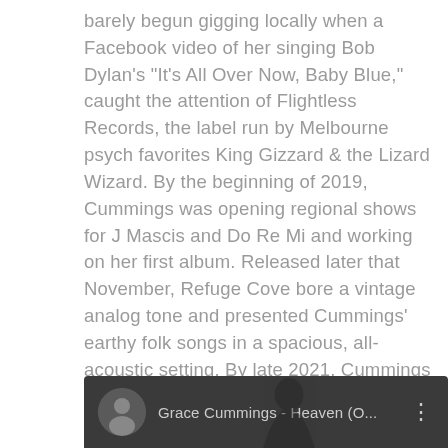barely begun gigging locally when a Facebook video of her singing Bob Dylan's "It's All Over Now, Baby Blue," caught the attention of Flightless Records, the label run by Melbourne psych favorites King Gizzard & the Lizard Wizard. By the beginning of 2019, Cummings was opening regional shows for J Mascis and Do Re Mi and working on her first album. Released later that November, Refuge Cove bore a vintage analog tone and presented Cummings' earthy folk songs in a spacious, all-acoustic setting. By late 2021, Cummings had joined the roster of American imprint ATO Records, which released her follow-up LP in January 2022. While maintaining the organic feel of her debut, Storm Queen found the singer leaning into different textures and instrumentation to frame her turbulent songs
[Figure (screenshot): Video thumbnail showing Grace Cummings - Heaven (O... with a circular avatar on dark grey background and three-dot menu icon]